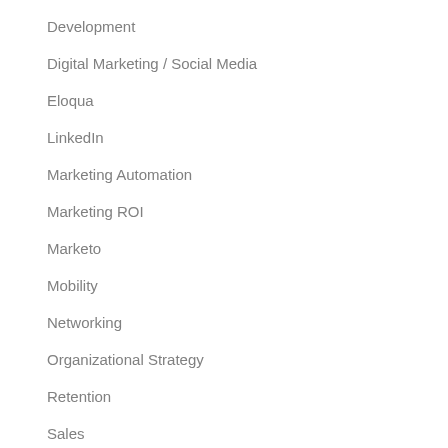Development
Digital Marketing / Social Media
Eloqua
LinkedIn
Marketing Automation
Marketing ROI
Marketo
Mobility
Networking
Organizational Strategy
Retention
Sales
Sales Enablement
Salesforce.com
Social